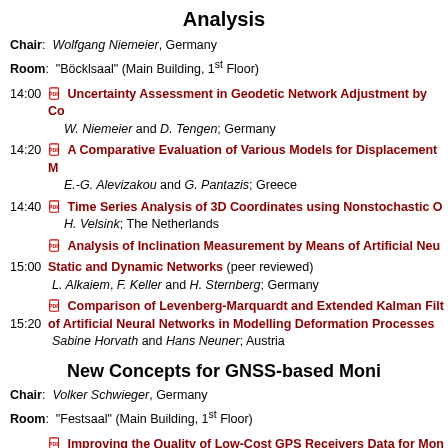Analysis
Chair: Wolfgang Niemeier, Germany
Room: "Böcklsaal" (Main Building, 1st Floor)
14:00 Uncertainty Assessment in Geodetic Network Adjustment by Co... W. Niemeier and D. Tengen; Germany
14:20 A Comparative Evaluation of Various Models for Displacement M... E.-G. Alevizakou and G. Pantazis; Greece
14:40 Time Series Analysis of 3D Coordinates using Nonstochastic O... H. Velsink; The Netherlands
Analysis of Inclination Measurement by Means of Artificial Neu...
15:00 Static and Dynamic Networks (peer reviewed) L. Alkaiem, F. Keller and H. Sternberg; Germany
Comparison of Levenberg-Marquardt and Extended Kalman Filt...
15:20 of Artificial Neural Networks in Modelling Deformation Processes... Sabine Horvath and Hans Neuner; Austria
New Concepts for GNSS-based Moni
Chair: Volker Schwieger, Germany
Room: "Festsaal" (Main Building, 1st Floor)
Improving the Quality of Low-Cost GPS Receivers Data for Mon...
14:00 Correlations (peer reviewed)